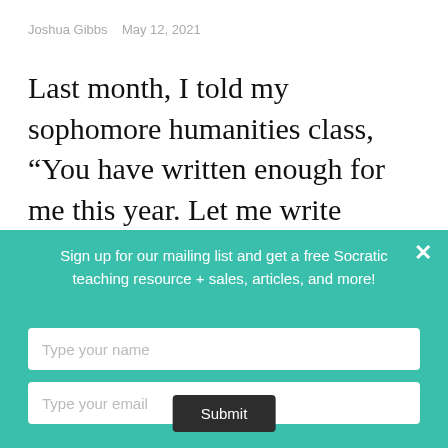Joshua Gibbs   May 12, 2021
Last month, I told my sophomore humanities class, “You have written enough for me this year. Let me write something for you.” And so we hashed out a deal where, on the appointed day,
Sign up for our mailing list and get a free Socratic teaching resource + sales, articles, and more!
Type your name
Type your email
Submit